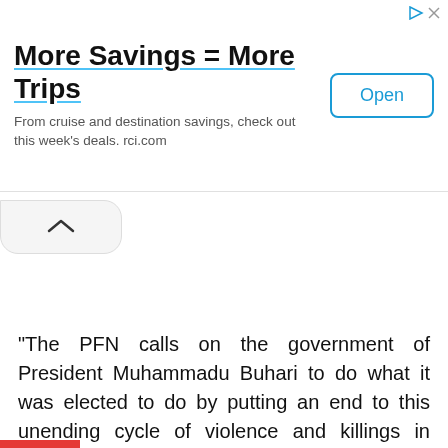[Figure (screenshot): Advertisement banner for RCI travel savings: 'More Savings = More Trips' with Open button]
[Figure (screenshot): Collapse/chevron up button below the ad banner]
“The PFN calls on the government of President Muhammadu Buhari to do what it was elected to do by putting an end to this unending cycle of violence and killings in Nigeria, as security of lives and